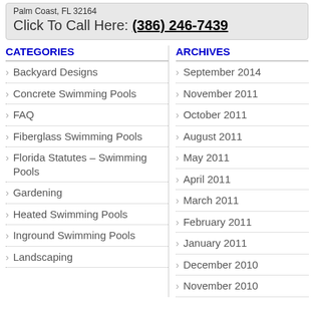Palm Coast, FL 32164
Click To Call Here: (386) 246-7439
CATEGORIES
ARCHIVES
Backyard Designs
September 2014
Concrete Swimming Pools
November 2011
FAQ
October 2011
Fiberglass Swimming Pools
August 2011
May 2011
Florida Statutes – Swimming Pools
April 2011
March 2011
Gardening
February 2011
Heated Swimming Pools
January 2011
Inground Swimming Pools
December 2010
Landscaping
November 2010